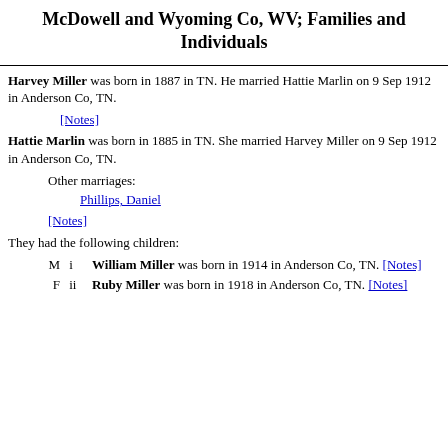McDowell and Wyoming Co, WV; Families and Individuals
Harvey Miller was born in 1887 in TN. He married Hattie Marlin on 9 Sep 1912 in Anderson Co, TN.
[Notes]
Hattie Marlin was born in 1885 in TN. She married Harvey Miller on 9 Sep 1912 in Anderson Co, TN.
Other marriages:
Phillips, Daniel
[Notes]
They had the following children:
M i William Miller was born in 1914 in Anderson Co, TN. [Notes]
F ii Ruby Miller was born in 1918 in Anderson Co, TN. [Notes]